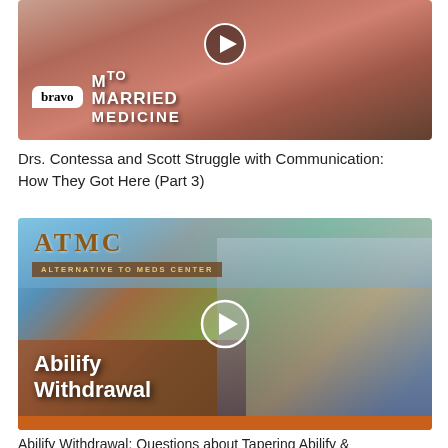[Figure (screenshot): Video thumbnail for Bravo TV 'Married to Medicine' showing two people, with bravo logo and show title overlay, and a play button icon.]
Drs. Contessa and Scott Struggle with Communication: How They Got Here (Part 3)
[Figure (screenshot): Video thumbnail for ATMC (Alternative to Meds Center) featuring a man in a blue shirt, with 'Abilify Withdrawal' text overlay and a play button icon.]
Abilify Withdrawal: Questions about Tapering Abilify &